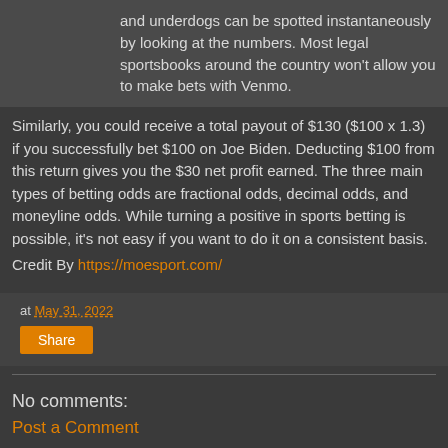and underdogs can be spotted instantaneously by looking at the numbers. Most legal sportsbooks around the country won't allow you to make bets with Venmo.
Similarly, you could receive a total payout of $130 ($100 x 1.3) if you successfully bet $100 on Joe Biden. Deducting $100 from this return gives you the $30 net profit earned. The three main types of betting odds are fractional odds, decimal odds, and moneyline odds. While turning a positive in sports betting is possible, it's not easy if you want to do it on a consistent basis.
Credit By https://moesport.com/
at May 31, 2022
Share
No comments:
Post a Comment